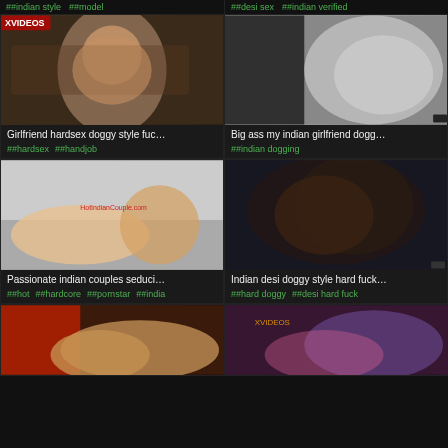#indian style #model | #desi sex #indian verified
[Figure (photo): Thumbnail of indian girlfriend video]
Girlfriend hardsex doggy style fuc…
#hardsex #handjob
[Figure (photo): Thumbnail of big ass indian girlfriend video]
Big ass my indian girlfriend dogg…
#indian dogging
[Figure (photo): Thumbnail of passionate indian couples video]
Passionate indian couples seduci…
#hot #hardcore #pornstar #india
[Figure (photo): Thumbnail of indian desi doggy style video]
Indian desi doggy style hard fuck…
#hard doggy #desi hard fuck
[Figure (photo): Thumbnail bottom left]
[Figure (photo): Thumbnail bottom right]